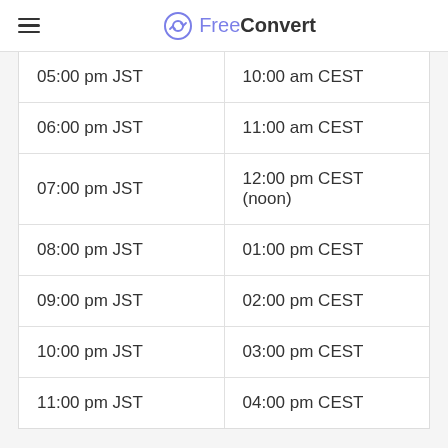FreeConvert
| 05:00 pm JST | 10:00 am CEST |
| 06:00 pm JST | 11:00 am CEST |
| 07:00 pm JST | 12:00 pm CEST (noon) |
| 08:00 pm JST | 01:00 pm CEST |
| 09:00 pm JST | 02:00 pm CEST |
| 10:00 pm JST | 03:00 pm CEST |
| 11:00 pm JST | 04:00 pm CEST |